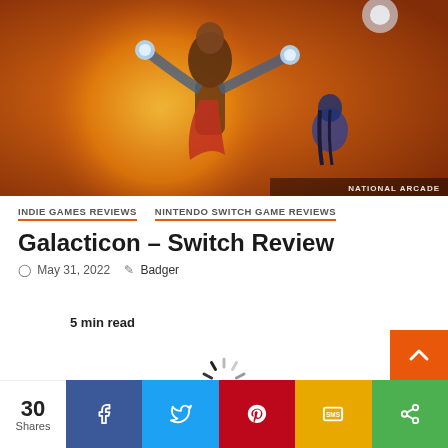[Figure (illustration): Game artwork showing fantasy warrior characters in orange/warm toned illustration. Watermark reads NATIONAL ARCADE in bottom right.]
INDIE GAMES REVIEWS   NINTENDO SWITCH GAME REVIEWS
Galacticon – Switch Review
May 31, 2022   Badger
5 min read
[Figure (other): Loading spinner icon]
30 Shares